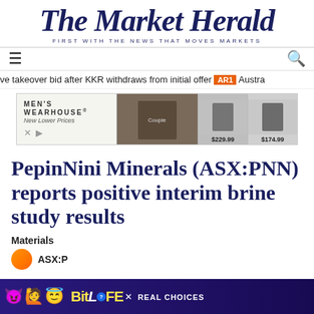The Market Herald — FIRST WITH THE NEWS THAT MOVES MARKETS
[Figure (other): Men's Wearhouse advertisement banner showing suits priced at $229.99 and $174.99]
ve takeover bid after KKR withdraws from initial offer AR1 Austra
PepinNini Minerals (ASX:PNN) reports positive interim brine study results
Materials
ASX:PNN
[Figure (other): BitLife Real Choices advertisement banner with emoji characters]